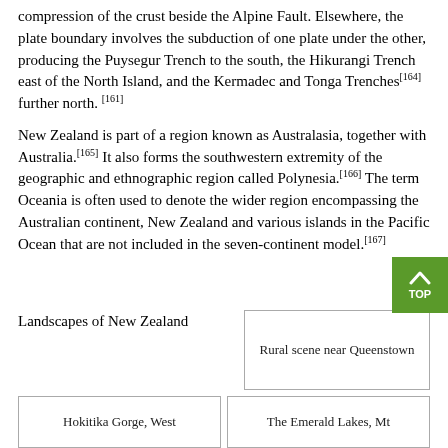compression of the crust beside the Alpine Fault. Elsewhere, the plate boundary involves the subduction of one plate under the other, producing the Puysegur Trench to the south, the Hikurangi Trench east of the North Island, and the Kermadec and Tonga Trenches[164] further north. [161]
New Zealand is part of a region known as Australasia, together with Australia.[165] It also forms the southwestern extremity of the geographic and ethnographic region called Polynesia.[166] The term Oceania is often used to denote the wider region encompassing the Australian continent, New Zealand and various islands in the Pacific Ocean that are not included in the seven-continent model.[167]
[Figure (other): Gallery label: Landscapes of New Zealand. Cells: Rural scene near Queenstown; Hokitika Gorge, West; The Emerald Lakes, Mt]
Landscapes of New Zealand
Rural scene near Queenstown
Hokitika Gorge, West
The Emerald Lakes, Mt